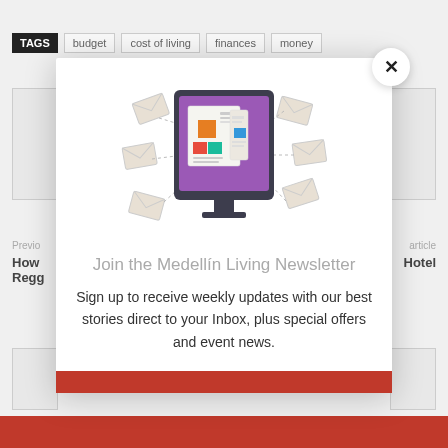[Figure (screenshot): Website screenshot showing a newsletter signup modal popup over a blog page. Background shows TAGS bar with budget, cost of living, finances, money tags, navigation links for previous/next articles, and gray content boxes. A white modal dialog contains an illustration of a monitor with newsletters flying around it, title text, body text, and a red button at bottom. An X close button appears in the top right of the modal.]
Join the Medellín Living Newsletter
Sign up to receive weekly updates with our best stories direct to your Inbox, plus special offers and event news.